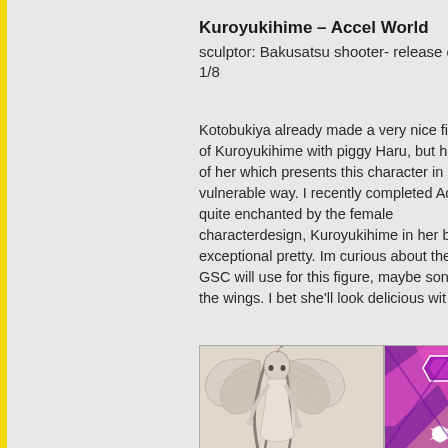Kuroyukihime – Accel World
sculptor: Bakusatsu shooter- release d... 1/8
Kotobukiya already made a very nice fi of Kuroyukihime with piggy Haru, but h of her which presents this character in vulnerable way. I recently completed Ac quite enchanted by the female characterdesign, Kuroyukihime in her b exceptional pretty. Im curious about the GSC will use for this figure, maybe son the wings. I bet she'll look delicious wit
[Figure (illustration): Greyscale anime illustration of a fairy-like female character with large white wings and long hair, wearing a white dress]
[Figure (illustration): Pink and purple abstract/geometric anime artwork partially visible]